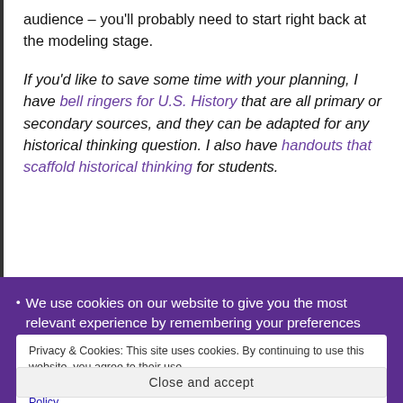audience – you'll probably need to start right back at the modeling stage.
If you'd like to save some time with your planning, I have bell ringers for U.S. History that are all primary or secondary sources, and they can be adapted for any historical thinking question. I also have handouts that scaffold historical thinking for students.
We use cookies on our website to give you the most relevant experience by remembering your preferences and
Privacy & Cookies: This site uses cookies. By continuing to use this website, you agree to their use.
To find out more, including how to control cookies, see here: Cookie Policy
Close and accept